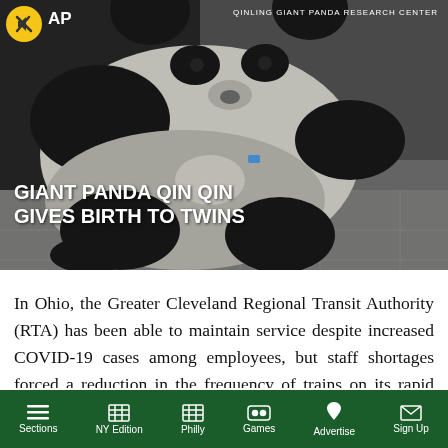[Figure (screenshot): AP News video thumbnail showing a giant panda curled on the floor holding a cub, with text overlay 'GIANT PANDA QIN QIN GIVES BIRTH TO TWINS', AP logo top left, mute icon, and 'QINLING GIANT PANDA RESEARCH CENTER' watermark top right]
In Ohio, the Greater Cleveland Regional Transit Authority (RTA) has been able to maintain service despite increased COVID-19 cases among employees, but staff shortages forced a reduction in the frequency of trains on its rapid lines this week. Instead of the
Sections   NY Edition   Philly   Games   Advertise   Sign Up